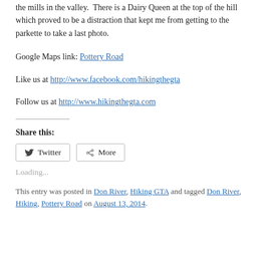the mills in the valley.  There is a Dairy Queen at the top of the hill which proved to be a distraction that kept me from getting to the parkette to take a last photo.
Google Maps link: Pottery Road
Like us at http://www.facebook.com/hikingthegta
Follow us at http://www.hikingthegta.com
Share this:
Twitter   More
Loading...
This entry was posted in Don River, Hiking GTA and tagged Don River, Hiking, Pottery Road on August 13, 2014.